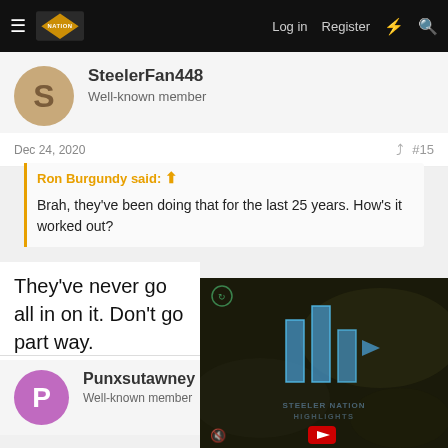≡ [NATION logo] Log in Register ⚡ 🔍
SteelerFan448
Well-known member
Dec 24, 2020  #15
Ron Burgundy said: ↑
Brah, they've been doing that for the last 25 years. How's it worked out?
They've never go all in on it. Don't go part way.
[Figure (screenshot): Embedded video player showing Steeler Nation Highlights with blue bars logo animation on dark background, YouTube play button, mute icon]
Punxsutawney
Well-known member